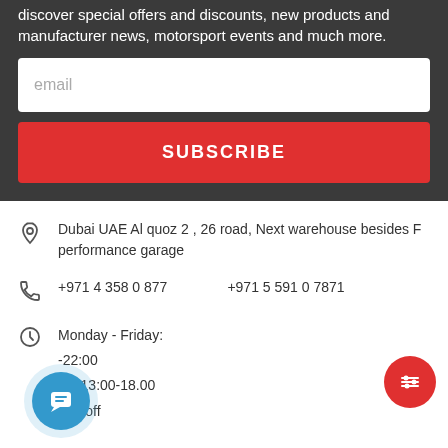discover special offers and discounts, new products and manufacturer news, motorsport events and much more.
email
SUBSCRIBE
Dubai UAE Al quoz 2 , 26 road, Next warehouse besides F performance garage
+971 4 358 0 877    +971 5 591 0 7871
Monday - Friday:
-22:00
ay: 13:00-18.00
ay - off